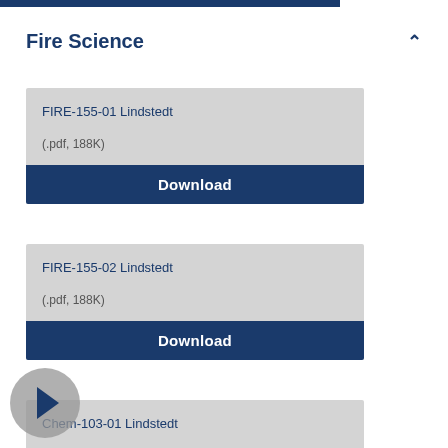Fire Science
FIRE-155-01 Lindstedt
(.pdf, 188K)
Download
FIRE-155-02 Lindstedt
(.pdf, 188K)
Download
Chem-103-01 Lindstedt